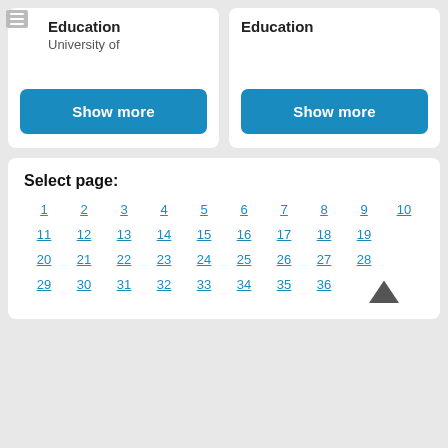Education
University of
Show more
Education
Show more
Select page:
1 2 3 4 5 6 7 8 9 10 11 12 13 14 15 16 17 18 19 20 21 22 23 24 25 26 27 28 29 30 31 32 33 34 35 36